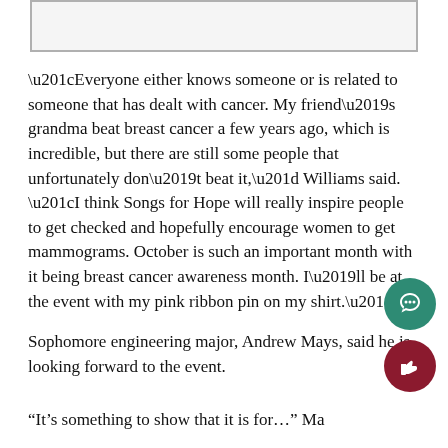[Figure (other): Empty rounded rectangle box at top of page]
“Everyone either knows someone or is related to someone that has dealt with cancer. My friend’s grandma beat breast cancer a few years ago, which is incredible, but there are still some people that unfortunately don’t beat it,” Williams said. “I think Songs for Hope will really inspire people to get checked and hopefully encourage women to get mammograms. October is such an important month with it being breast cancer awareness month. I’ll be at the event with my pink ribbon pin on my shirt.”
Sophomore engineering major, Andrew Mays, said he is looking forward to the event.
“It’s something to show that it is for…” Mays said.